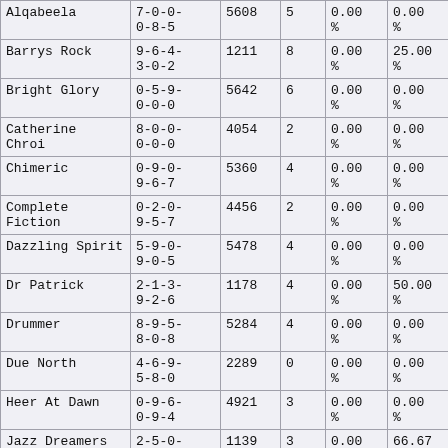| Alqabeela | 7-0-0-0-8-5 | 5608 | 5 | 0.00 % | 0.00 % |
| Barrys Rock | 9-6-4-3-0-2 | 1211 | 8 | 0.00 % | 25.00 % |
| Bright Glory | 0-5-9-0-0-0 | 5642 | 6 | 0.00 % | 0.00 % |
| Catherine Chroi | 8-0-0-0-0-0 | 4054 | 2 | 0.00 % | 0.00 % |
| Chimeric | 0-9-0-9-6-7 | 5360 | 4 | 0.00 % | 0.00 % |
| Complete Fiction | 0-2-0-9-5-7 | 4456 | 2 | 0.00 % | 0.00 % |
| Dazzling Spirit | 5-9-0-9-0-5 | 5478 | 4 | 0.00 % | 0.00 % |
| Dr Patrick | 2-1-3-9-2-6 | 1178 | 4 | 0.00 % | 50.00 % |
| Drummer | 8-9-5-8-0-8 | 5284 | 4 | 0.00 % | 0.00 % |
| Due North | 4-6-9-5-8-0 | 2289 | 0 | 0.00 % | 0.00 % |
| Heer At Dawn | 0-9-6-0-9-4 | 4921 | 3 | 0.00 % | 0.00 % |
| Jazz Dreamers | 2-5-0-7-3-2 | 1139 | 3 | 0.00 % | 66.67 % |
| Kasansay | 8-8-0-0-0-0 | 4787 | 3 | 0.00 % | 0.00 % |